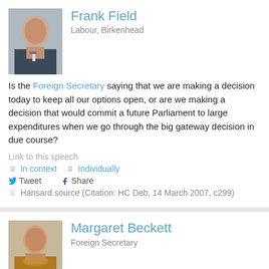Frank Field
Labour, Birkenhead
Is the Foreign Secretary saying that we are making a decision today to keep all our options open, or are we making a decision that would commit a future Parliament to large expenditures when we go through the big gateway decision in due course?
Link to this speech
In context   Individually
Tweet   Share
Hansard source (Citation: HC Deb, 14 March 2007, c299)
Margaret Beckett
Foreign Secretary
My right hon. Friend will know that that question was raised with the Prime Minister a few moments ago and he answered it clearly. It is the decision of principle that we are required to make today. It is inevitable that there will be future discussions, and there will be